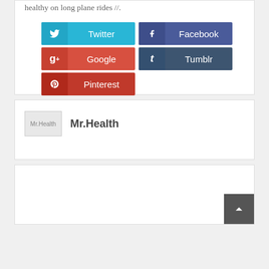healthy on long plane rides //.
[Figure (other): Social share buttons: Twitter (cyan), Facebook (dark blue), Google (red-orange), Tumblr (dark slate), Pinterest (red)]
[Figure (other): Author profile block with placeholder image and name Mr.Health]
Mr.Health